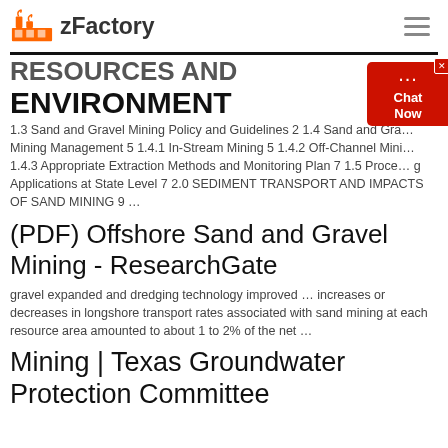zFactory
RESOURCES AND ENVIRONMENT
1.3 Sand and Gravel Mining Policy and Guidelines 2 1.4 Sand and Gravel Mining Management 5 1.4.1 In-Stream Mining 5 1.4.2 Off-Channel Mining 1.4.3 Appropriate Extraction Methods and Monitoring Plan 7 1.5 Processing Applications at State Level 7 2.0 SEDIMENT TRANSPORT AND IMPACTS OF SAND MINING 9 …
(PDF) Offshore Sand and Gravel Mining - ResearchGate
gravel expanded and dredging technology improved … increases or decreases in longshore transport rates associated with sand mining at each resource area amounted to about 1 to 2% of the net …
Mining | Texas Groundwater Protection Committee